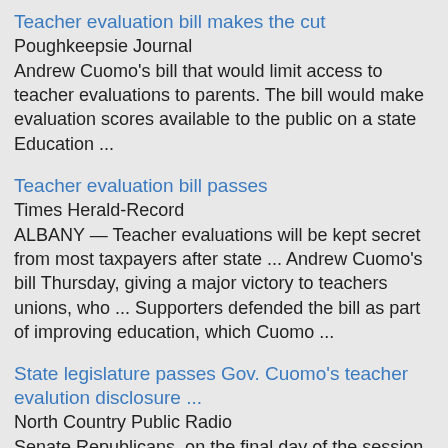Teacher evaluation bill makes the cut
Poughkeepsie Journal
Andrew Cuomo's bill that would limit access to teacher evaluations to parents. The bill would make evaluation scores available to the public on a state Education ...
Teacher evaluation bill passes
Times Herald-Record
ALBANY — Teacher evaluations will be kept secret from most taxpayers after state ... Andrew Cuomo's bill Thursday, giving a major victory to teachers unions, who ... Supporters defended the bill as part of improving education, which Cuomo ...
State legislature passes Gov. Cuomo's teacher evalution disclosure ...
North Country Public Radio
Senate Republicans, on the final day of the session, agreed to take up Cuomo's bill, which will make public all teacher evaluations, without names attached.
[Figure (other): Broken image icon]
North Country Public Radio